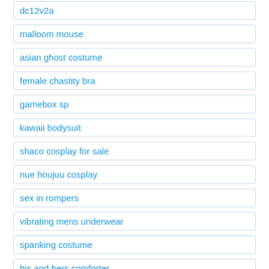dc12v2a
malloom mouse
asian ghost costume
female chastity bra
gamebox sp
kawaii bodysuit
shaco cosplay for sale
nue houjuu cosplay
sex in rompers
vibrating mens underwear
spanking costume
his and hers comforter